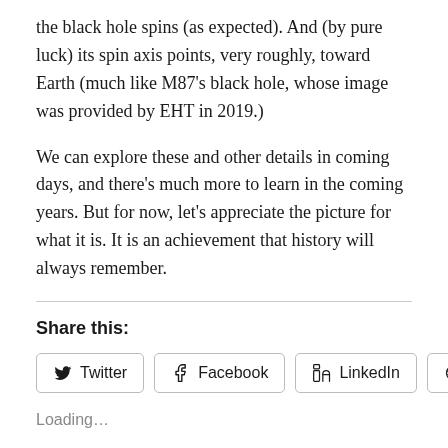the black hole spins (as expected). And (by pure luck) its spin axis points, very roughly, toward Earth (much like M87's black hole, whose image was provided by EHT in 2019.)
We can explore these and other details in coming days, and there's much more to learn in the coming years. But for now, let's appreciate the picture for what it is. It is an achievement that history will always remember.
Share this:
[Figure (other): Social share buttons: Twitter, Facebook, LinkedIn, Reddit]
Loading...